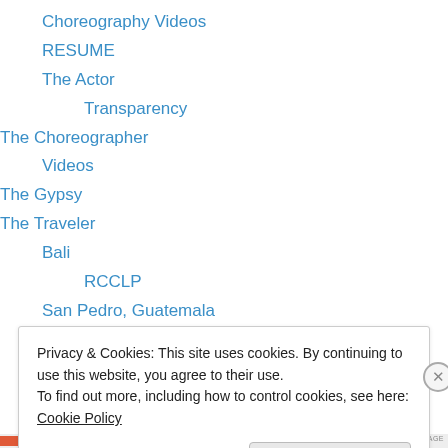Choreography Videos
RESUME
The Actor
Transparency
The Choreographer
Videos
The Gypsy
The Traveler
Bali
RCCLP
San Pedro, Guatemala
South Africa
Thailand
Privacy & Cookies: This site uses cookies. By continuing to use this website, you agree to their use.
To find out more, including how to control cookies, see here: Cookie Policy